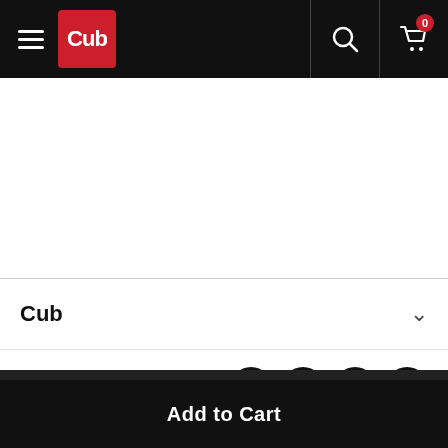Cub — navigation bar with hamburger menu, Cub logo, search icon, cart icon (0 items)
Reserve Pickup Time at Plymouth
Cub
Follow Us
Add to Cart